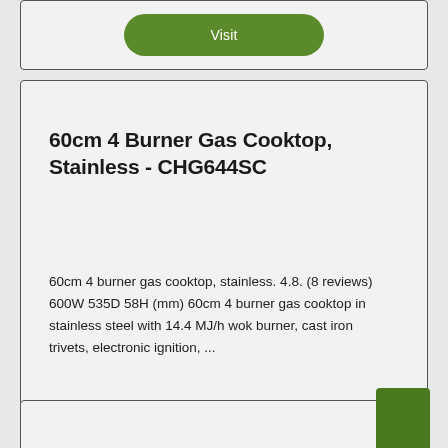Visit
60cm 4 Burner Gas Cooktop, Stainless - CHG644SC
60cm 4 burner gas cooktop, stainless. 4.8. (8 reviews) 600W 535D 58H (mm) 60cm 4 burner gas cooktop in stainless steel with 14.4 MJ/h wok burner, cast iron trivets, electronic ignition, ...
Visit